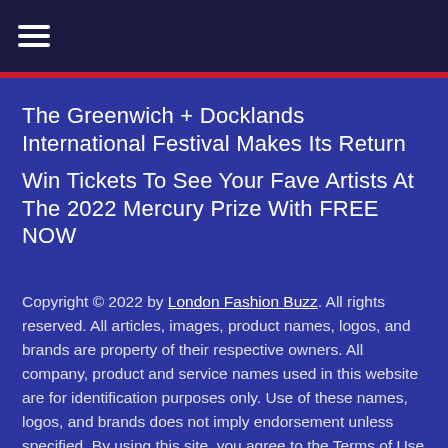☰ (hamburger menu icon)
The Greenwich + Docklands International Festival Makes Its Return
Win Tickets To See Your Fave Artists At The 2022 Mercury Prize With FREE NOW
Copyright © 2022 by London Fashion Buzz. All rights reserved. All articles, images, product names, logos, and brands are property of their respective owners. All company, product and service names used in this website are for identification purposes only. Use of these names, logos, and brands does not imply endorsement unless specified. By using this site, you agree to the Terms of Use and Privacy Policy.